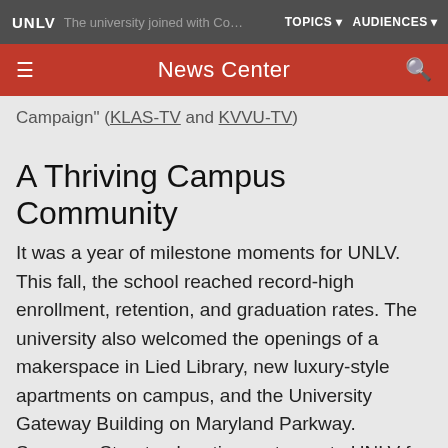UNLV | News Center | TOPICS | AUDIENCES
Campaign" (KLAS-TV and KVVU-TV)
A Thriving Campus Community
It was a year of milestone moments for UNLV. This fall, the school reached record-high enrollment, retention, and graduation rates. The university also welcomed the openings of a makerspace in Lied Library, new luxury-style apartments on campus, and the University Gateway Building on Maryland Parkway. Swenson Street, a longtime gateway to UNLV for area residents and millions of annual visitors, also took on a new name with a more collegiate